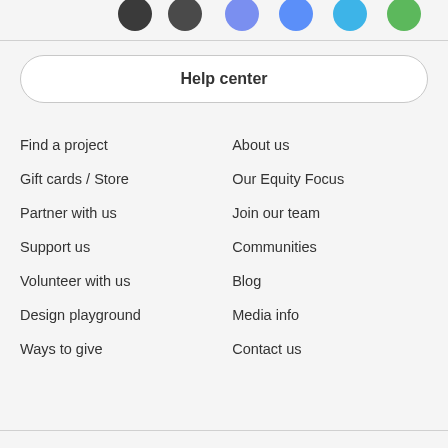[Figure (illustration): Row of circular social media / app icons partially visible at top of page]
Help center
Find a project
About us
Gift cards / Store
Our Equity Focus
Partner with us
Join our team
Support us
Communities
Volunteer with us
Blog
Design playground
Media info
Ways to give
Contact us